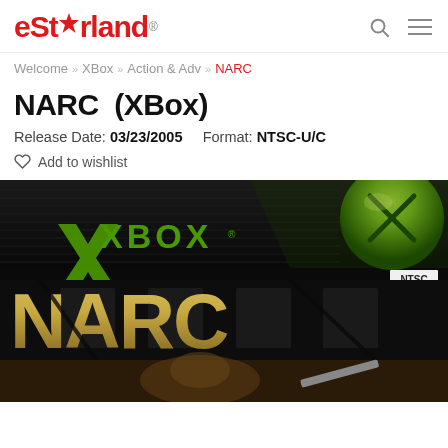eStarland®
Welcome » XBox » Action & Adv » NARC
NARC (XBox)
Release Date: 03/23/2005   Format: NTSC-U/C
Add to wishlist
[Figure (photo): NARC for Xbox game box art showing the Xbox logo in green on black background at top, NARC title in large gold/tan letters, and a figure in the lower portion]